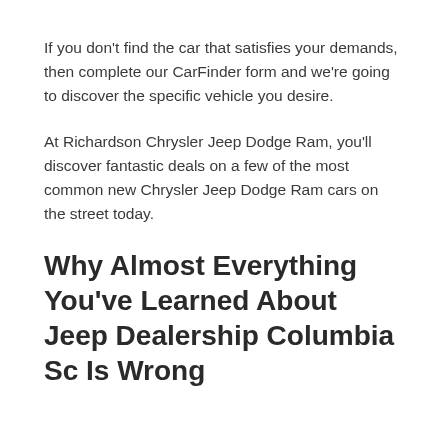If you don't find the car that satisfies your demands, then complete our CarFinder form and we're going to discover the specific vehicle you desire.
At Richardson Chrysler Jeep Dodge Ram, you'll discover fantastic deals on a few of the most common new Chrysler Jeep Dodge Ram cars on the street today.
Why Almost Everything You've Learned About Jeep Dealership Columbia Sc Is Wrong